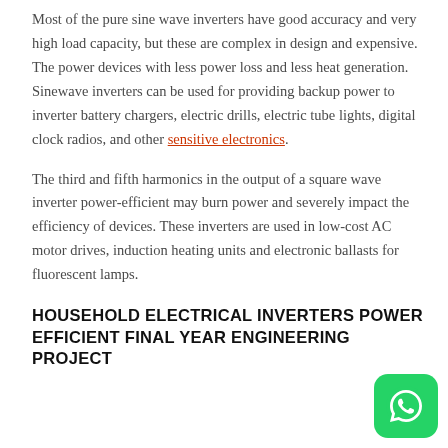Most of the pure sine wave inverters have good accuracy and very high load capacity, but these are complex in design and expensive. The power devices with less power loss and less heat generation. Sinewave inverters can be used for providing backup power to inverter battery chargers, electric drills, electric tube lights, digital clock radios, and other sensitive electronics.
The third and fifth harmonics in the output of a square wave inverter power-efficient may burn power and severely impact the efficiency of devices. These inverters are used in low-cost AC motor drives, induction heating units and electronic ballasts for fluorescent lamps.
HOUSEHOLD ELECTRICAL INVERTERS POWER EFFICIENT FINAL YEAR ENGINEERING PROJECT
[Figure (logo): WhatsApp icon button (green rounded square with white phone handset icon)]